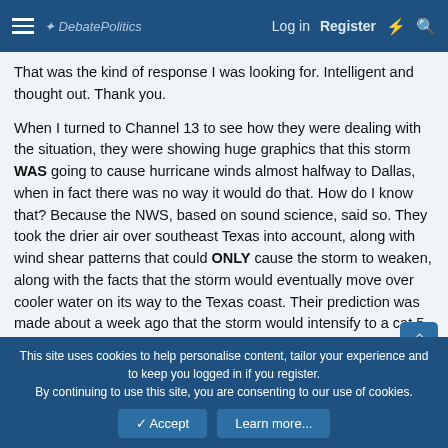DebatePolitics | Log in | Register
That was the kind of response I was looking for. Intelligent and thought out. Thank you.
When I turned to Channel 13 to see how they were dealing with the situation, they were showing huge graphics that this storm WAS going to cause hurricane winds almost halfway to Dallas, when in fact there was no way it would do that. How do I know that? Because the NWS, based on sound science, said so. They took the drier air over southeast Texas into account, along with wind shear patterns that could ONLY cause the storm to weaken, along with the facts that the storm would eventually move over cooler water on its way to the Texas coast. Their prediction was made about a week ago that the storm would intensify to a cat 5 then weaken considerably. Our government, having been made
This site uses cookies to help personalise content, tailor your experience and to keep you logged in if you register.
By continuing to use this site, you are consenting to our use of cookies.